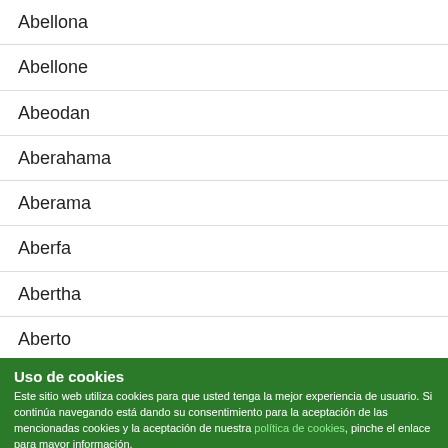Abellona
Abellone
Abeodan
Aberahama
Aberama
Aberfa
Abertha
Aberto
Abesaloma
Abez
Uso de cookies
Este sitio web utiliza cookies para que usted tenga la mejor experiencia de usuario. Si continúa navegando está dando su consentimiento para la aceptación de las mencionadas cookies y la aceptación de nuestra política de cookies, pinche el enlace para mayor información.
ACEPTAR
plugin cooki